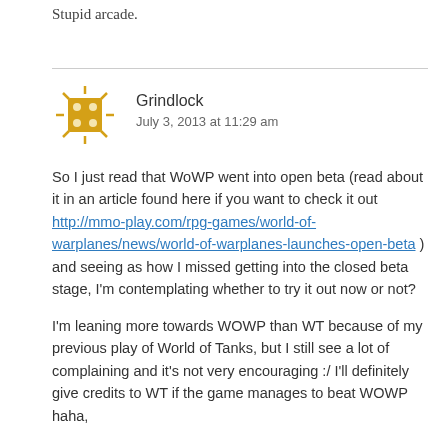Stupid arcade.
Grindlock
July 3, 2013 at 11:29 am
So I just read that WoWP went into open beta (read about it in an article found here if you want to check it out http://mmo-play.com/rpg-games/world-of-warplanes/news/world-of-warplanes-launches-open-beta ) and seeing as how I missed getting into the closed beta stage, I'm contemplating whether to try it out now or not?
I'm leaning more towards WOWP than WT because of my previous play of World of Tanks, but I still see a lot of complaining and it's not very encouraging :/ I'll definitely give credits to WT if the game manages to beat WOWP haha,